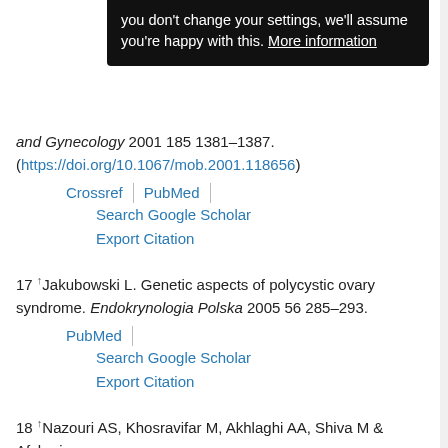[Figure (screenshot): Cookie consent banner overlay (dark background) with text: "you don't change your settings, we'll assume you're happy with this. More information"]
and Gynecology 2001 185 1381–1387. (https://doi.org/10.1067/mob.2001.118656)
Crossref | PubMed | Search Google Scholar | Export Citation
17 ↑Jakubowski L. Genetic aspects of polycystic ovary syndrome. Endokrynologia Polska 2005 56 285–293.
PubMed | Search Google Scholar | Export Citation
18 ↑Nazouri AS, Khosravifar M, Akhlaghi AA, Shiva M & Afsharian